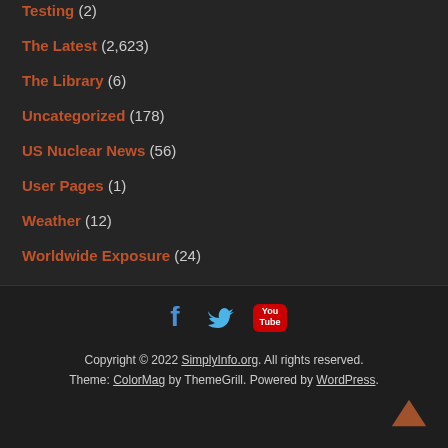Testing (2)
The Latest (2,623)
The Library (6)
Uncategorized (178)
US Nuclear News (56)
User Pages (1)
Weather (12)
Worldwide Exposure (24)
Copyright © 2022 SimplyInfo.org. All rights reserved. Theme: ColorMag by ThemeGrill. Powered by WordPress.